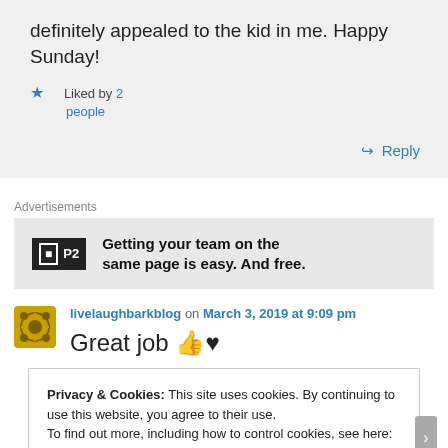definitely appealed to the kid in me. Happy Sunday!
Liked by 2 people
Reply
Advertisements
[Figure (logo): P2 advertisement logo with text: Getting your team on the same page is easy. And free.]
livelaughbarkblog on March 3, 2019 at 9:09 pm
Great job 👍♥
Privacy & Cookies: This site uses cookies. By continuing to use this website, you agree to their use.
To find out more, including how to control cookies, see here: Cookie Policy
Close and accept